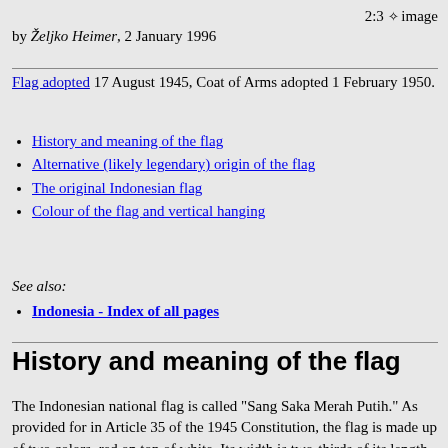2:3 ☷ image
by Željko Heimer, 2 January 1996
Flag adopted 17 August 1945, Coat of Arms adopted 1 February 1950.
History and meaning of the flag
Alternative (likely legendary) origin of the flag
The original Indonesian flag
Colour of the flag and vertical hanging
See also:
Indonesia - Index of all pages
History and meaning of the flag
The Indonesian national flag is called "Sang Saka Merah Putih." As provided for in Article 35 of the 1945 Constitution, the flag is made up of two colors, red on top of white. Its width is two-thirds of its length, or two meters by three meters. It is hoisted in front of